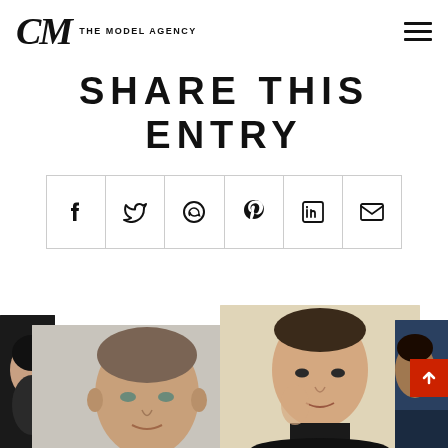CM THE MODEL AGENCY
SHARE THIS ENTRY
[Figure (other): Social sharing buttons row: Facebook, Twitter, WhatsApp, Pinterest, LinkedIn, Email icons in bordered cells]
[Figure (photo): Bottom section with overlapping model photos: dark-haired model on left edge, male model with buzzcut center-left on gray background, female model center-right on beige/cream background, dark blue strip on far right]